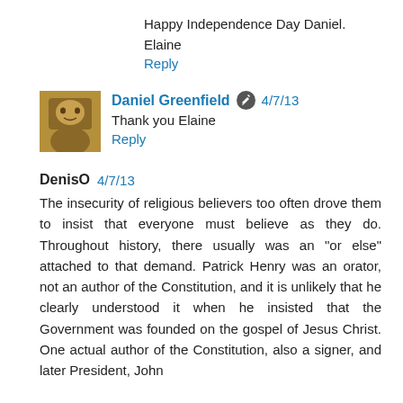Happy Independence Day Daniel.
Elaine
Reply
Daniel Greenfield 4/7/13
Thank you Elaine
Reply
DenisO 4/7/13
The insecurity of religious believers too often drove them to insist that everyone must believe as they do. Throughout history, there usually was an "or else" attached to that demand. Patrick Henry was an orator, not an author of the Constitution, and it is unlikely that he clearly understood it when he insisted that the Government was founded on the gospel of Jesus Christ. One actual author of the Constitution, also a signer, and later President, John